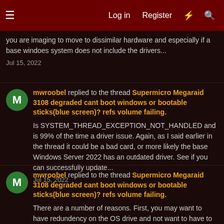Log in  Register
you are imaging to move to dissimilar hardware and especially if a base windoes system does not include the drivers...
Jul 15, 2022
mwroobel replied to the thread Supermicro Megaraid 3108 degraded cant boot windows or bootable sticks(blue screen)? refs volume failing.
Is SYSTEM_THREAD_EXCEPTION_NOT_HANDLED and is 99% of the time a driver issue. Again, as I said earlier in the thread it could be a bad card, or more likely the base Windows Server 2022 has an outdated driver. See if you can successfully update...
Jul 15, 2022
mwroobel replied to the thread Supermicro Megaraid 3108 degraded cant boot windows or bootable sticks(blue screen)? refs volume failing.
There are a number of reasons. First, you may want to have redundency on the OS drive and not want to have to put another pair of drives in the box (or not have the available drive slots.) it could be for regulatroy compliance (backing up the...